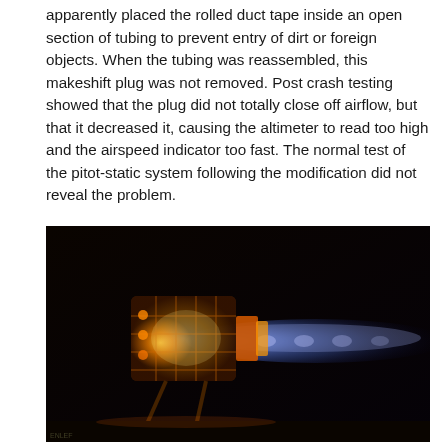apparently placed the rolled duct tape inside an open section of tubing to prevent entry of dirt or foreign objects. When the tubing was reassembled, this makeshift plug was not removed. Post crash testing showed that the plug did not totally close off airflow, but that it decreased it, causing the altimeter to read too high and the airspeed indicator too fast. The normal test of the pitot-static system following the modification did not reveal the problem.
[Figure (photo): Photograph of a jet engine or rocket engine firing in a dark environment, showing the glowing orange engine body with visible internal components and a long blue exhaust flame plume extending to the right.]